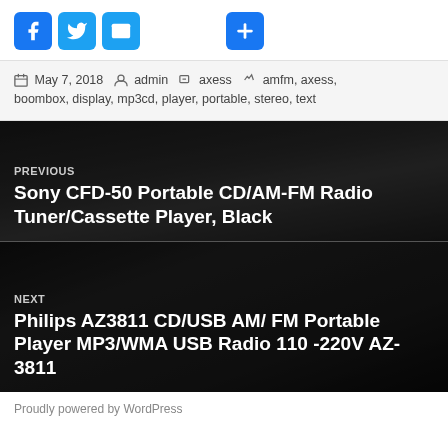[Figure (infographic): Row of social sharing icons: Facebook (blue), Twitter (blue), Email (blue), and a plus/more button (blue)]
May 7, 2018   admin   axess   amfm, axess, boombox, display, mp3cd, player, portable, stereo, text
[Figure (photo): Dark boombox photo background for PREVIOUS navigation link: Sony CFD-50 Portable CD/AM-FM Radio Tuner/Cassette Player, Black]
[Figure (photo): Dark boombox photo background for NEXT navigation link: Philips AZ3811 CD/USB AM/FM Portable Player MP3/WMA USB Radio 110-220V AZ-3811]
Proudly powered by WordPress